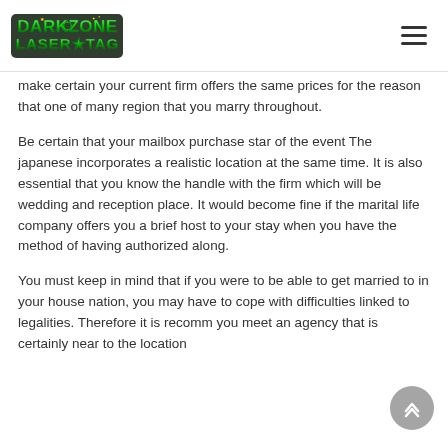Dark Zone Laser Tag (logo) + hamburger menu
make certain your current firm offers the same prices for the reason that one of many region that you marry throughout.
Be certain that your mailbox purchase star of the event The japanese incorporates a realistic location at the same time. It is also essential that you know the handle with the firm which will be wedding and reception place. It would become fine if the marital life company offers you a brief host to your stay when you have the method of having authorized along.
You must keep in mind that if you were to be able to get married to in your house nation, you may have to cope with difficulties linked to legalities. Therefore it is recommended you meet an agency that is certainly near to the location